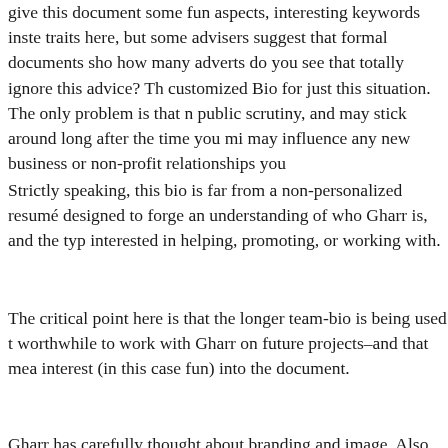give this document some fun aspects, interesting keywords inste traits here, but some advisers suggest that formal documents sho how many adverts do you see that totally ignore this advice? Th customized Bio for just this situation. The only problem is that n public scrutiny, and may stick around long after the time you mi may influence any new business or non-profit relationships you
Strictly speaking, this bio is far from a non-personalized resumé designed to forge an understanding of who Gharr is, and the typ interested in helping, promoting, or working with.
The critical point here is that the longer team-bio is being used t worthwhile to work with Gharr on future projects–and that mea interest (in this case fun) into the document.
Gharr has carefully thought about branding and image. Also Gh interacting with the organization in question to judge if the mate appropriate for that organization. Finally Gharr realizes that you contact with thousands of people every day, and that alone is wo